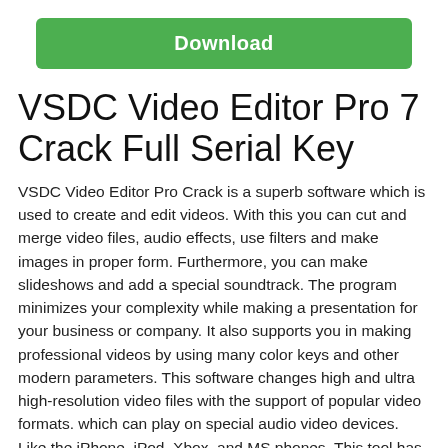[Figure (other): Green download button with white bold text 'Download']
VSDC Video Editor Pro 7 Crack Full Serial Key
VSDC Video Editor Pro Crack is a superb software which is used to create and edit videos. With this you can cut and merge video files, audio effects, use filters and make images in proper form. Furthermore, you can make slideshows and add a special soundtrack. The program minimizes your complexity while making a presentation for your business or company. It also supports you in making professional videos by using many color keys and other modern parameters. This software changes high and ultra high-resolution video files with the support of popular video formats. which can play on special audio video devices. Like the iPhone, iPod, Xbox, and MS phones. This tool has the function to capture videos of your desktop, record voice and save multimedia. So, Files to some supported formats and upload them to the online platform like